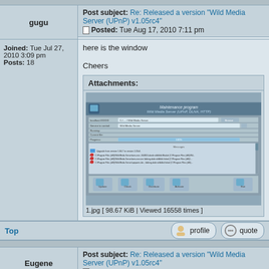gugu
Post subject: Re: Released a version "Wild Media Server (UPnP) v1.05rc4"
Posted: Tue Aug 17, 2010 7:11 pm
Joined: Tue Jul 27, 2010 3:09 pm
Posts: 18
here is the window

Cheers
[Figure (screenshot): Screenshot of Wild Media Server maintenance program showing upgrade progress window with file list and action buttons (Update, Check, Distribute, Activate, Exit).]
1.jpg [ 98.67 KiB | Viewed 16558 times ]
Top
Eugene
Post subject: Re: Released a version "Wild Media Server (UPnP) v1.05rc4"
Posted: Tue Aug 17, 2010 7:14 pm